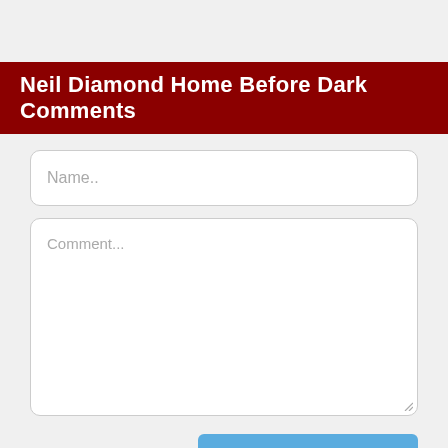Neil Diamond Home Before Dark Comments
Name..
Comment...
SEND
Bobby